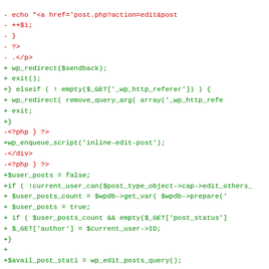[Figure (screenshot): Code diff screenshot showing removed lines in red and added lines in green, displaying PHP/WordPress code changes including redirect logic, enqueue script, user posts query, and page count calculations.]